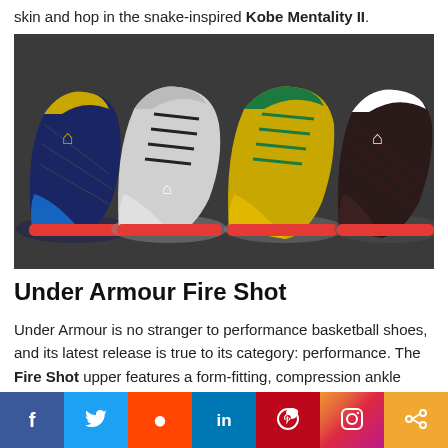skin and hop in the snake-inspired Kobe Mentality II.
[Figure (photo): Four colorful Under Armour Fire Shot basketball shoes displayed side by side: navy/gold, white/black/red, gold/green, and dark/red colorways, against a dark background.]
Under Armour Fire Shot
Under Armour is no stranger to performance basketball shoes, and its latest release is true to its category: performance. The Fire Shot upper features a form-fitting, compression ankle support for comprehensive protection and a full range of motion. A light and responsive Micro G sock liner is great for any player because it molds to your foot, while the design looks like
f  Twitter  Reddit  in  Pinterest  Instagram  Share